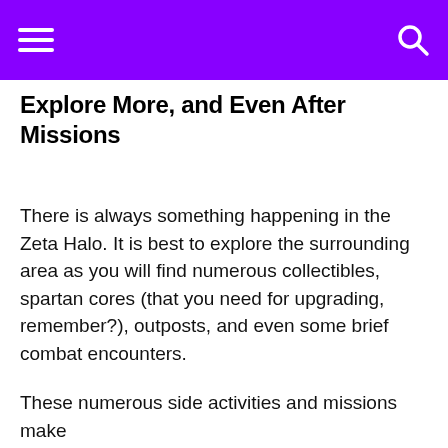Explore More, and Even After Missions
There is always something happening in the Zeta Halo. It is best to explore the surrounding area as you will find numerous collectibles, spartan cores (that you need for upgrading, remember?), outposts, and even some brief combat encounters.
These numerous side activities and missions make